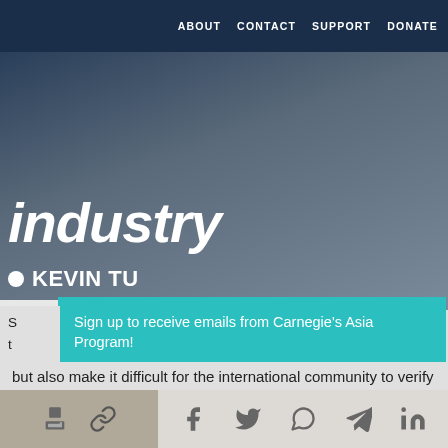ABOUT   CONTACT   SUPPORT   DONATE
industry
KEVIN TU
[Figure (screenshot): Email signup overlay on Carnegie Asia Program website. Teal box with text: 'Sign up to receive emails from Carnegie's Asia Program!' with email input field and SUBMIT button.]
but also make it difficult for the international community to verify achievements claimed by the Chinese
[Figure (infographic): Social share bar at bottom with icons for print, link, Facebook, Twitter, WhatsApp, Messenger, LinkedIn]